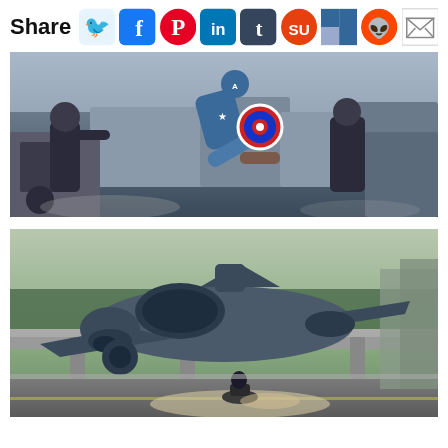Share [social media icons: Twitter, Facebook, Pinterest, LinkedIn, Tumblr, StumbleUpon, Delicious, Reddit, Email]
[Figure (photo): Action scene from Captain America: The Winter Soldier showing Captain America performing a flying kick against the Winter Soldier, with industrial/military equipment in background]
[Figure (photo): Scene from Captain America: The Winter Soldier showing a large futuristic military aircraft/Quinjet flying low over a highway with a motorcyclist below, urban environment with trees and overpass in background]